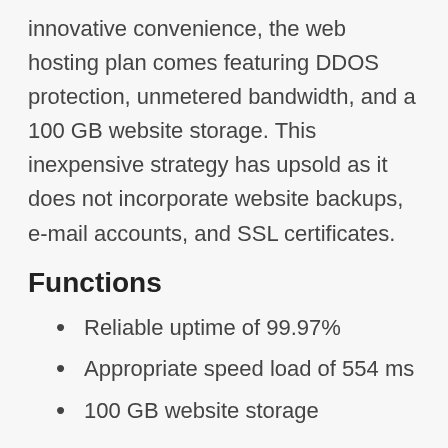innovative convenience, the web hosting plan comes featuring DDOS protection, unmetered bandwidth, and a 100 GB website storage. This inexpensive strategy has upsold as it does not incorporate website backups, e-mail accounts, and SSL certificates.
Functions
Reliable uptime of 99.97%
Appropriate speed load of 554 ms
100 GB website storage
Benefits
24/7 customer care service
It has DDOS defense for security